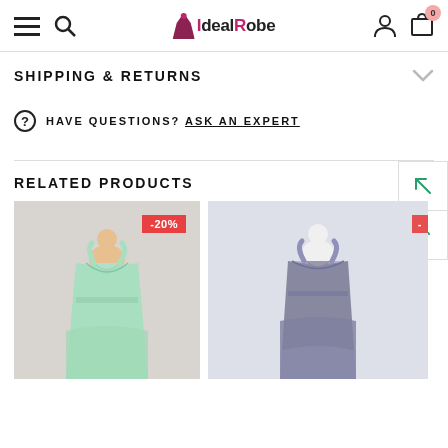IdealRobe — navigation header with hamburger menu, search, logo, user account, and cart (0 items)
SHIPPING & RETURNS
HAVE QUESTIONS? ASK AN EXPERT
RELATED PRODUCTS
[Figure (photo): Mint green short bridesmaid dress on a mannequin, V-neck with lace top and chiffon skirt, -20% discount badge]
[Figure (photo): Gray long bridesmaid dress on a mannequin, V-neck with lace top and chiffon skirt]